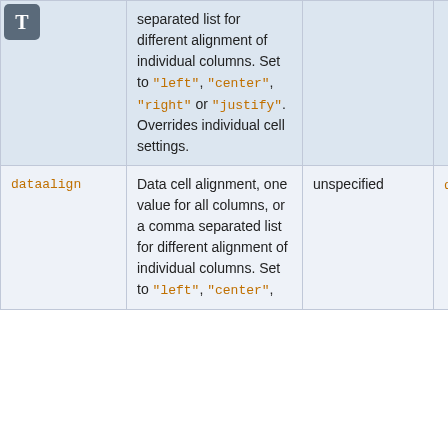|  | Description | Default |  |
| --- | --- | --- | --- |
|  | separated list for different alignment of individual columns. Set to "left", "center", "right" or "justify". Overrides individual cell settings. | unspecified (shown as continuation) |  |
| dataalign | Data cell alignment, one value for all columns, or a comma separated list for different alignment of individual columns. Set to "left", "center", | unspecified | dataa |